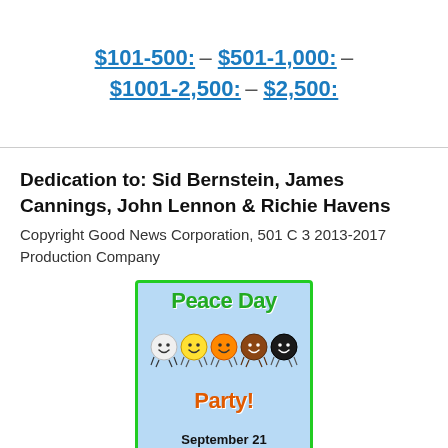$101-500: – $501-1,000: – $1001-2,500: – $2,500:
Dedication to: Sid Bernstein, James Cannings, John Lennon & Richie Havens
Copyright Good News Corporation, 501 C 3 2013-2017 Production Company
[Figure (logo): Peace Day Party logo with colorful smiley face characters and text 'Peace Day Party! September 21' on a light blue background with green border]